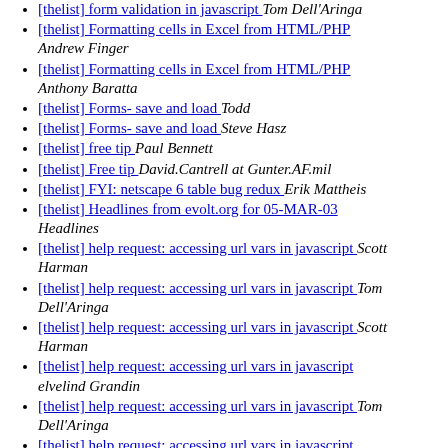[thelist] form validation in javascript  Tom Dell'Aringa
[thelist] Formatting cells in Excel from HTML/PHP  Andrew Finger
[thelist] Formatting cells in Excel from HTML/PHP  Anthony Baratta
[thelist] Forms- save and load   Todd
[thelist] Forms- save and load   Steve Hasz
[thelist] free tip   Paul Bennett
[thelist] Free tip   David.Cantrell at Gunter.AF.mil
[thelist] FYI: netscape 6 table bug redux   Erik Mattheis
[thelist] Headlines from evolt.org for 05-MAR-03  Headlines
[thelist] help request: accessing url vars in javascript  Scott Harman
[thelist] help request: accessing url vars in javascript  Tom Dell'Aringa
[thelist] help request: accessing url vars in javascript  Scott Harman
[thelist] help request: accessing url vars in javascript  elvelind Grandin
[thelist] help request: accessing url vars in javascript  Tom Dell'Aringa
[thelist] help request: accessing url vars in javascript  elvelind Grandin
[thelist] help request: accessing url vars in javascript  Scott